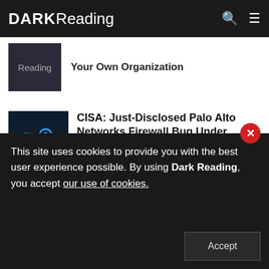DARK Reading
Your Own Organization
CISA: Just-Disclosed Palo Alto Networks Firewall Bug Under Active Exploit
Tara Seals, Managing Editor, News, Dark Reading
Webinars
This site uses cookies to provide you with the best user experience possible. By using Dark Reading, you accept our use of cookies.